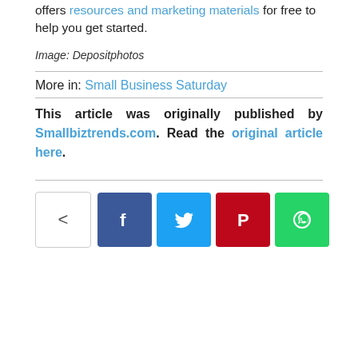offers resources and marketing materials for free to help you get started.
Image: Depositphotos
More in: Small Business Saturday
This article was originally published by Smallbiztrends.com. Read the original article here.
[Figure (other): Social share buttons: share icon, Facebook, Twitter, Pinterest, WhatsApp]